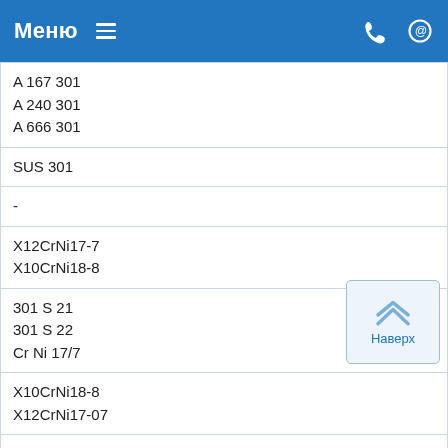Меню
| A 167 301
A 240 301
A 666 301 |
| SUS 301 |
| - |
| X12CrNi17-7
X10CrNi18-8 |
| 301 S 21
301 S 22
Cr Ni 17/7 |
| X10CrNi18-8
X12CrNi17-07 |
| Z 11 CN 17-08
Z 11 CN 18-08
Z 12 CN 18-09 |
| 08кп |
| A 622 |